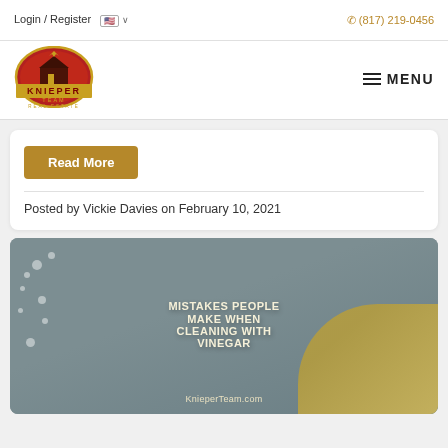Login / Register   (817) 219-0456
[Figure (logo): Knieper Team Real Estate logo — circular red and gold badge with building silhouette]
Read More
Posted by Vickie Davies on February 10, 2021
[Figure (photo): Mistakes People Make When Cleaning With Vinegar — photo of yellow rubber gloves cleaning, with bold white/cream text overlay. KnieperTeam.com watermark.]